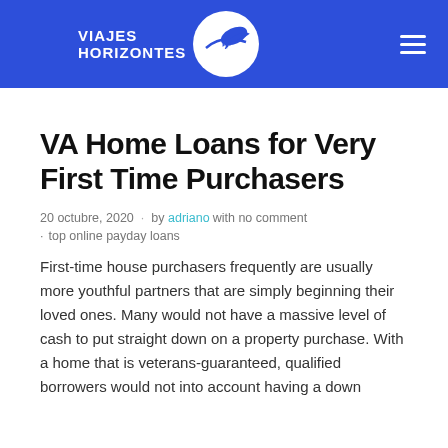[Figure (logo): Viajes Horizontes logo with airplane icon in white circle on blue background header bar]
VA Home Loans for Very First Time Purchasers
20 octubre, 2020 · by adriano with no comment · top online payday loans
First-time house purchasers frequently are usually more youthful partners that are simply beginning their loved ones. Many would not have a massive level of cash to put straight down on a property purchase. With a home that is veterans-guaranteed, qualified borrowers would not into account having a down